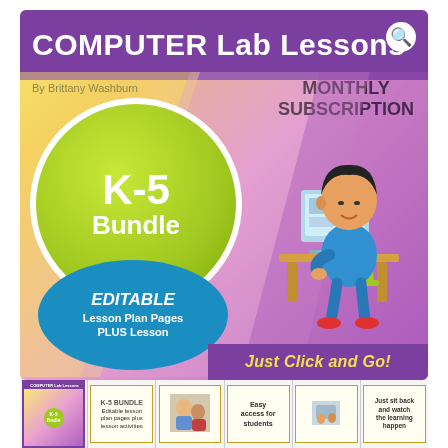[Figure (illustration): Educational product cover image for Computer Lab Lessons K-5 Bundle Monthly Subscription. Features a purple header bar with white bold title 'COMPUTER Lab Lessons', author byline 'By Brittany Washburn', text 'MONTHLY SUBSCRIPTION', a large yellow-green circle badge with 'K-5 Bundle', a cartoon boy sitting at a computer desk, a blue oval badge reading 'EDITABLE Lesson Plan Pages PLUS Lesson', and a purple banner reading 'Just Click and Go!' at the bottom. A thumbnail strip of five preview images appears at the very bottom.]